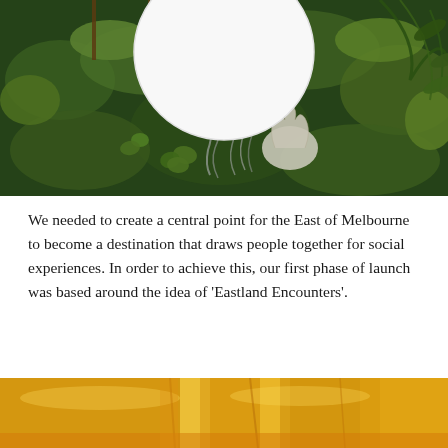[Figure (photo): Overhead view of a table setting surrounded by lush green moss, ferns, and white dried botanical elements. A white round plate is visible at the top center.]
We needed to create a central point for the East of Melbourne to become a destination that draws people together for social experiences. In order to achieve this, our first phase of launch was based around the idea of 'Eastland Encounters'.
[Figure (photo): Close-up photograph of golden-yellow cheese slices with a glossy, slightly translucent appearance.]